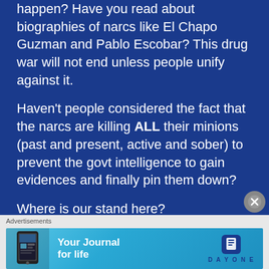happen? Have you read about biographies of narcs like El Chapo Guzman and Pablo Escobar? This drug war will not end unless people unify against it.
Haven't people considered the fact that the narcs are killing ALL their minions (past and present, active and sober) to prevent the govt intelligence to gain evidences and finally pin them down?
Where is our stand here?
What's the resolution?
and why are the socio-political analyst
[Figure (screenshot): Advertisement banner for Day One journal app with cyan/blue gradient background, phone image on left, 'Your Journal for life' text in center, and Day One logo on right]